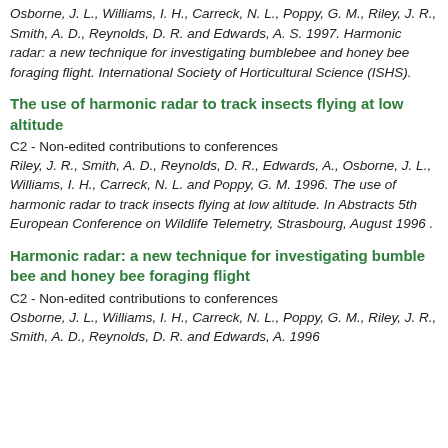Osborne, J. L., Williams, I. H., Carreck, N. L., Poppy, G. M., Riley, J. R., Smith, A. D., Reynolds, D. R. and Edwards, A. S. 1997. Harmonic radar: a new technique for investigating bumblebee and honey bee foraging flight. International Society of Horticultural Science (ISHS).
The use of harmonic radar to track insects flying at low altitude
C2 - Non-edited contributions to conferences
Riley, J. R., Smith, A. D., Reynolds, D. R., Edwards, A., Osborne, J. L., Williams, I. H., Carreck, N. L. and Poppy, G. M. 1996. The use of harmonic radar to track insects flying at low altitude. In Abstracts 5th European Conference on Wildlife Telemetry, Strasbourg, August 1996 .
Harmonic radar: a new technique for investigating bumble bee and honey bee foraging flight
C2 - Non-edited contributions to conferences
Osborne, J. L., Williams, I. H., Carreck, N. L., Poppy, G. M., Riley, J. R., Smith, A. D., Reynolds, D. R. and Edwards, A. 1996